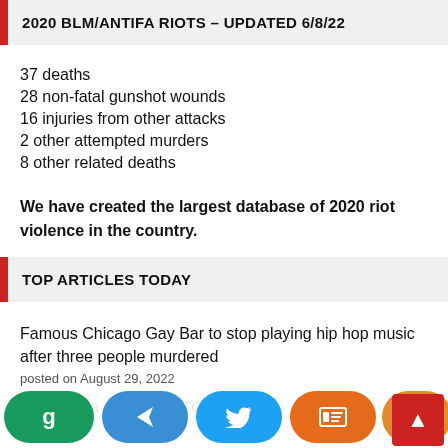2020 BLM/ANTIFA RIOTS – UPDATED 6/8/22
37 deaths
28 non-fatal gunshot wounds
16 injuries from other attacks
2 other attempted murders
8 other related deaths
We have created the largest database of 2020 riot violence in the country.
TOP ARTICLES TODAY
Famous Chicago Gay Bar to stop playing hip hop music after three people murdered
posted on August 29, 2022